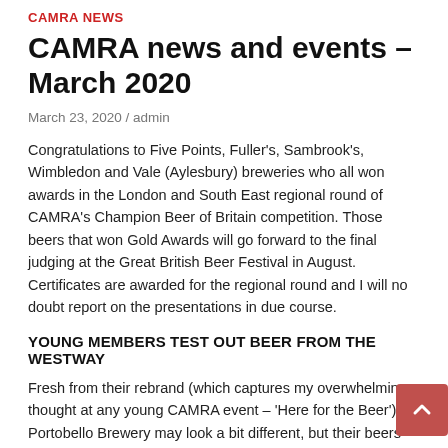CAMRA NEWS
CAMRA news and events – March 2020
March 23, 2020 / admin
Congratulations to Five Points, Fuller's, Sambrook's, Wimbledon and Vale (Aylesbury) breweries who all won awards in the London and South East regional round of CAMRA's Champion Beer of Britain competition. Those beers that won Gold Awards will go forward to the final judging at the Great British Beer Festival in August. Certificates are awarded for the regional round and I will no doubt report on the presentations in due course.
YOUNG MEMBERS TEST OUT BEER FROM THE WESTWAY
Fresh from their rebrand (which captures my overwhelming thought at any young CAMRA event – 'Here for the Beer') Portobello Brewery may look a bit different, but their beers are as great as ever. Welcomed by Rob Jenkins who founded the brewery and is now the